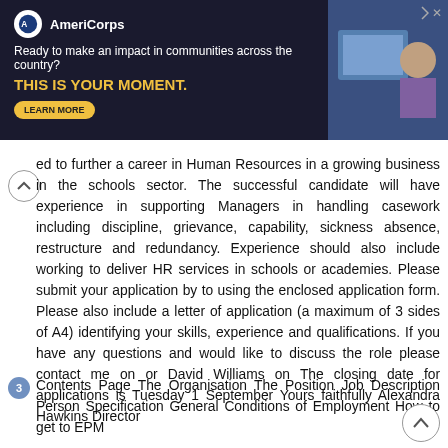[Figure (screenshot): AmeriCorps advertisement banner. Dark blue background with AmeriCorps logo and text: 'Ready to make an impact in communities across the country? THIS IS YOUR MOMENT.' with a yellow LEARN MORE button. Right side shows a person at a computer.]
ed to further a career in Human Resources in a growing business in the schools sector. The successful candidate will have experience in supporting Managers in handling casework including discipline, grievance, capability, sickness absence, restructure and redundancy. Experience should also include working to deliver HR services in schools or academies. Please submit your application by to using the enclosed application form. Please also include a letter of application (a maximum of 3 sides of A4) identifying your skills, experience and qualifications. If you have any questions and would like to discuss the role please contact me on or David Williams on The closing date for applications is Tuesday 1 September Yours faithfully Alexandra Hawkins Director
3 Contents Page The Organisation The Position Job Description Person Specification General Conditions of Employment How to get to EPM